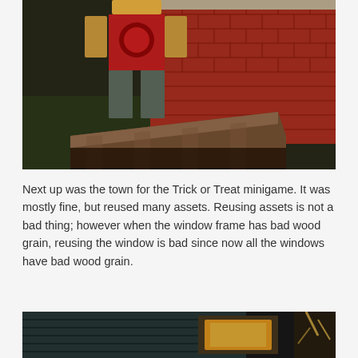[Figure (screenshot): A Roblox character wearing a red shirt with a graphic and grey pants, standing in front of a red brick wall with a wooden ramp/structure in a dark environment.]
Next up was the town for the Trick or Treat minigame. It was mostly fine, but reused many assets. Reusing assets is not a bad thing; however when the window frame has bad wood grain, reusing the window is bad since now all the windows have bad wood grain.
[Figure (screenshot): A partial screenshot showing a dark building exterior with dark teal/grey wooden siding, a glowing orange/yellow lit window, and decorative elements on the right side.]